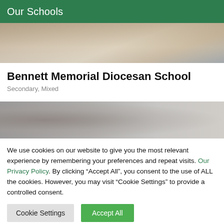Our Schools
[Figure (photo): Students at desks, close-up of hands and papers, school classroom setting]
Bennett Memorial Diocesan School
Secondary, Mixed
[Figure (photo): Close-up of a student wearing a grey hijab, partial face visible]
We use cookies on our website to give you the most relevant experience by remembering your preferences and repeat visits. Our Privacy Policy. By clicking “Accept All”, you consent to the use of ALL the cookies. However, you may visit "Cookie Settings" to provide a controlled consent.
Cookie Settings    Accept All